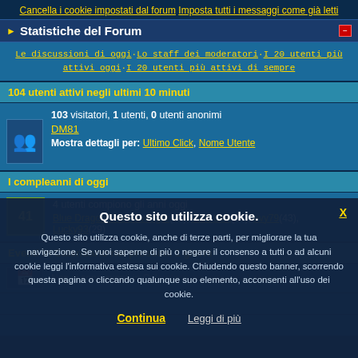Cancella i cookie impostati dal forum | Imposta tutti i messaggi come già letti
Statistiche del Forum
Le discussioni di oggi·Lo staff dei moderatori·I 20 utenti più attivi oggi·I 20 utenti più attivi di sempre
104 utenti attivi negli ultimi 10 minuti
103 visitatori, 1 utenti, 0 utenti anonimi
DM81
Mostra dettagli per: Ultimo Click, Nome Utente
I compleanni di oggi
4 utenti compiono gli anni oggi
Blue Dragon The Revenger(32), True Link(28), evy79(43), Lucky93(29)
Eventi in Calendario nei prossimi 1 giorni
Questo sito utilizza cookie.
Questo sito utilizza cookie, anche di terze parti, per migliorare la tua navigazione. Se vuoi saperne di più o negare il consenso a tutti o ad alcuni cookie leggi l'informativa estesa sui cookie. Chiudendo questo banner, scorrendo questa pagina o cliccando qualunque suo elemento, acconsenti all'uso dei cookie.
Continua | Leggi di più